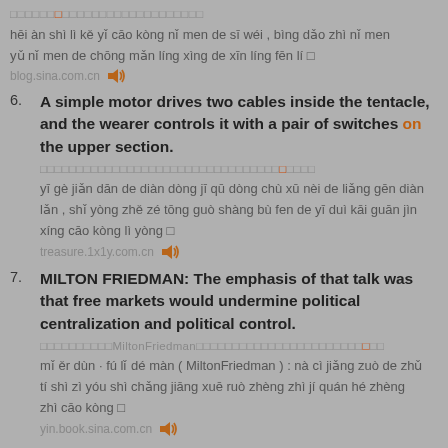黑暗是利可以操控你们的思维，并导致你们与你们的充满灵性的心灵分离。
hēi àn shì lì kě yǐ cāo kòng nǐ men de sī wéi , bìng dǎo zhì nǐ men yǔ nǐ men de chōng mǎn líng xìng de xīn líng fēn lí。
blog.sina.com.cn 🔊
6. A simple motor drives two cables inside the tentacle, and the wearer controls it with a pair of switches on the upper section.
一个简单的电动机驱动触须内的两根电缆，使用者则通过上部分的一对开关进行操控利用。
yī gè jiǎn dān de diàn dòng jī qū dòng chù xū nèi de liǎng gēn diàn lǎn , shǐ yòng zhě zé tōng guò shàng bù fen de yī duì kāi guān jìn xíng cāo kòng lì yòng。
treasure.1x1y.com.cn 🔊
7. MILTON FRIEDMAN: The emphasis of that talk was that free markets would undermine political centralization and political control.
米尔顿·弗里德曼（MiltonFriedman）：那次讲座的主题是自由市场将削弱政治集权和政治操控。
mǐ ěr dùn · fú lǐ dé màn ( MiltonFriedman ) : nà cì jiǎng zuò de zhǔ tí shì zì yóu shì chǎng jiāng xuē ruò zhèng zhì jí quán hé zhèng zhì cāo kòng。
yin.book.sina.com.cn 🔊